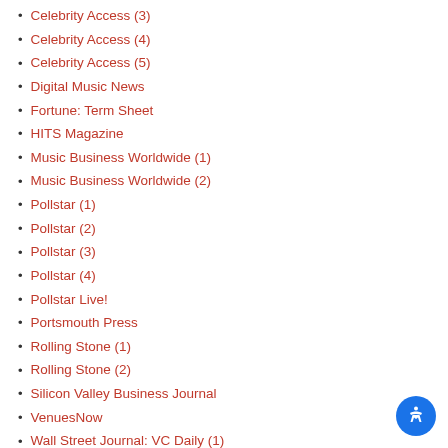Celebrity Access (3)
Celebrity Access (4)
Celebrity Access (5)
Digital Music News
Fortune: Term Sheet
HITS Magazine
Music Business Worldwide (1)
Music Business Worldwide (2)
Pollstar (1)
Pollstar (2)
Pollstar (3)
Pollstar (4)
Pollstar Live!
Portsmouth Press
Rolling Stone (1)
Rolling Stone (2)
Silicon Valley Business Journal
VenuesNow
Wall Street Journal: VC Daily (1)
Wall Street Journal: VC Daily (2)
What's Up Newp